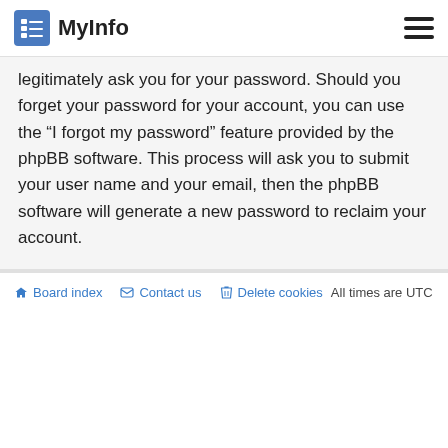MyInfo
legitimately ask you for your password. Should you forget your password for your account, you can use the “I forgot my password” feature provided by the phpBB software. This process will ask you to submit your user name and your email, then the phpBB software will generate a new password to reclaim your account.
Board index   Contact us   Delete cookies   All times are UTC